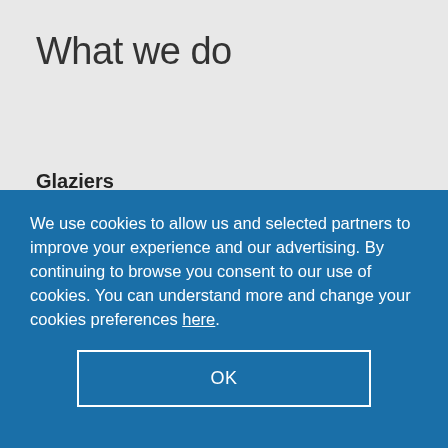What we do
Glaziers
Timber windows
Sash windows
We use cookies to allow us and selected partners to improve your experience and our advertising. By continuing to browse you consent to our use of cookies. You can understand more and change your cookies preferences here.
OK